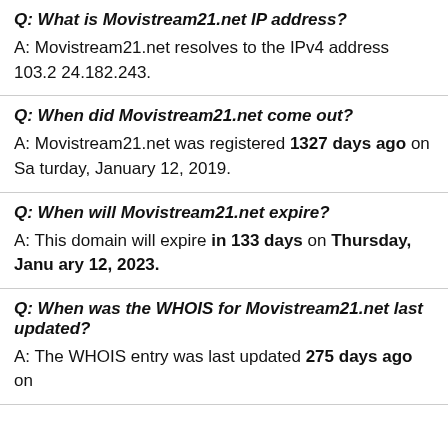Q: What is Movistream21.net IP address?
A: Movistream21.net resolves to the IPv4 address 103.224.182.243.
Q: When did Movistream21.net come out?
A: Movistream21.net was registered 1327 days ago on Saturday, January 12, 2019.
Q: When will Movistream21.net expire?
A: This domain will expire in 133 days on Thursday, January 12, 2023.
Q: When was the WHOIS for Movistream21.net last updated?
A: The WHOIS entry was last updated 275 days ago on